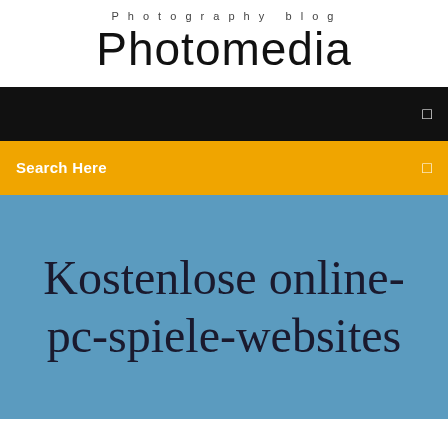Photography blog
Photomedia
[Figure (screenshot): Black navigation bar with a small white icon on the right]
Search Here
Kostenlose online-pc-spiele-websites